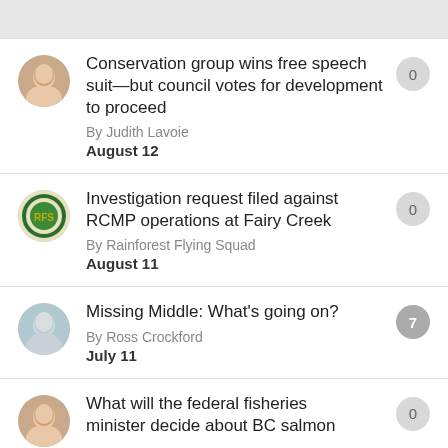Conservation group wins free speech suit—but council votes for development to proceed
By Judith Lavoie
August 12
0
Investigation request filed against RCMP operations at Fairy Creek
By Rainforest Flying Squad
August 11
0
Missing Middle: What's going on?
By Ross Crockford
July 11
7
What will the federal fisheries minister decide about BC salmon
0